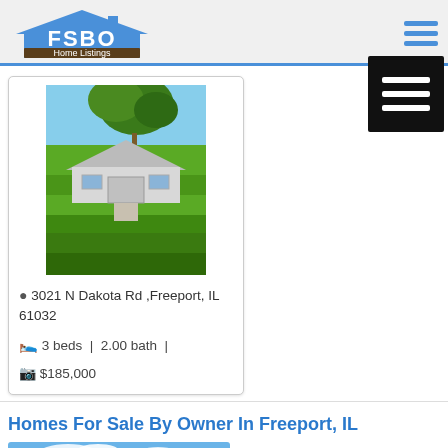[Figure (logo): FSBO Home Listings logo with house icon in blue]
[Figure (photo): Exterior photo of house at 3021 N Dakota Rd, Freeport IL — green lawn, trees, blue sky, ranch-style home]
3021 N Dakota Rd ,Freeport, IL 61032
3 beds | 2.00 bath | $185,000
Homes For Sale By Owner In Freeport, IL
[Figure (photo): Partial exterior photo of another home listing — blue sky and green lawn visible]